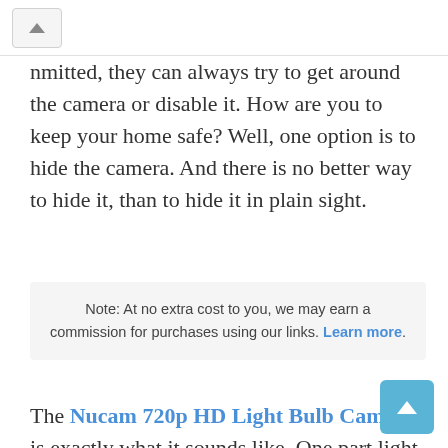nmitted, they can always try to get around the camera or disable it. How are you to keep your home safe? Well, one option is to hide the camera. And there is no better way to hide it, than to hide it in plain sight.
Note: At no extra cost to you, we may earn a commission for purchases using our links. Learn more.
The Nucam 720p HD Light Bulb Camera is exactly what it sounds like. One part light bulb, one part